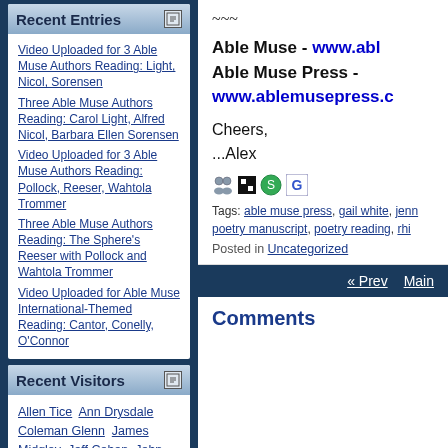Recent Entries
Video Uploaded for 3 Able Muse Authors Reading: Light, Nicol, Sorensen
Three Able Muse Authors Reading: Carol Light, Alfred Nicol, Barbara Ellen Sorensen
Video Uploaded for 3 Able Muse Authors Reading: Pollock, Reeser, Wahtola Trommer
Three Able Muse Authors Reading: The Sphere's Reeser with Pollock and Wahtola Trommer
Video Uploaded for Able Muse International-Themed Reading: Cantor, Conelly, O'Connor
Recent Visitors
Allen Tice  Ann Drysdale  Coleman Glenn  James Midgley  Jeff Cohen  John Beaton  Mark McDonnell  mignon ledgard  R. Nemo Hill  Yves S L
~~~
Able Muse - www.abl... Able Muse Press - www.ablemusepress.c...
Cheers,
...Alex
Tags: able muse press, gail white, jenn... poetry manuscript, poetry reading, rhi...
Posted in Uncategorized
« Prev    Main
Comments